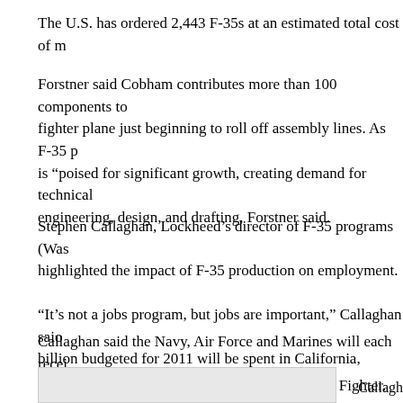The U.S. has ordered 2,443 F-35s at an estimated total cost of m
Forstner said Cobham contributes more than 100 components to the fighter plane just beginning to roll off assembly lines. As F-35 p is “poised for significant growth, creating demand for technical engineering, design, and drafting, Forstner said.
Stephen Callaghan, Lockheed’s director of F-35 programs (Was highlighted the impact of F-35 production on employment.
“It’s not a jobs program, but jobs are important,” Callaghan saio billion budgeted for 2011 will be spent in California, creating 2( jobs for the state, he said.
Callaghan said the Navy, Air Force and Marines will each recei the F-35, which is also known as the Joint Strike Fighter. All thr array of armaments and a “stealth” design intended to make the
[Figure (other): Gray box at bottom of page, partially visible, with 'Callaghan' label at right]